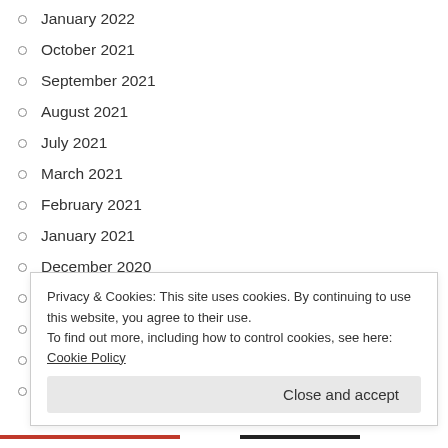January 2022
October 2021
September 2021
August 2021
July 2021
March 2021
February 2021
January 2021
December 2020
November 2020
October 2020
September 2020
August 2020
Privacy & Cookies: This site uses cookies. By continuing to use this website, you agree to their use.
To find out more, including how to control cookies, see here: Cookie Policy
Close and accept